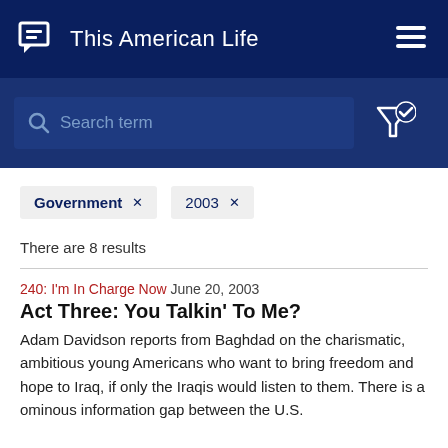This American Life
Search term
Government ×
2003 ×
There are 8 results
240: I'm In Charge Now  June 20, 2003
Act Three: You Talkin' To Me?
Adam Davidson reports from Baghdad on the charismatic, ambitious young Americans who want to bring freedom and hope to Iraq, if only the Iraqis would listen to them. There is a ominous information gap between the U.S.